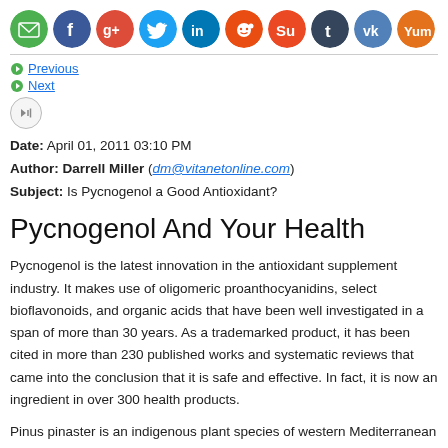[Figure (other): Row of social media sharing icons: email (green), Facebook (blue), Google+ (red), Twitter (blue), LinkedIn (blue), Reddit (red/orange), StumbleUpon (orange-red), Tumblr (dark blue), VK (blue), Yummly (orange)]
Previous  Next
Date: April 01, 2011 03:10 PM
Author: Darrell Miller (dm@vitanetonline.com)
Subject: Is Pycnogenol a Good Antioxidant?
Pycnogenol And Your Health
Pycnogenol is the latest innovation in the antioxidant supplement industry. It makes use of oligomeric proanthocyanidins, select bioflavonoids, and organic acids that have been well investigated in a span of more than 30 years. As a trademarked product, it has been cited in more than 230 published works and systematic reviews that came into the conclusion that it is safe and effective. In fact, it is now an ingredient in over 300 health products.
Pinus pinaster is an indigenous plant species of western Mediterranean from which the extract is drawn and from which Pycnogenol is named.